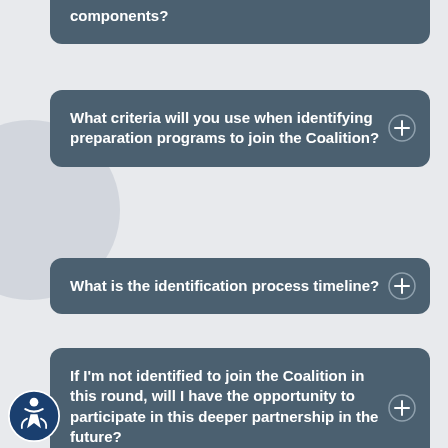... is one of the main components?
What criteria will you use when identifying preparation programs to join the Coalition?
What is the identification process timeline?
If I'm not identified to join the Coalition in this round, will I have the opportunity to participate in this deeper partnership in the future?